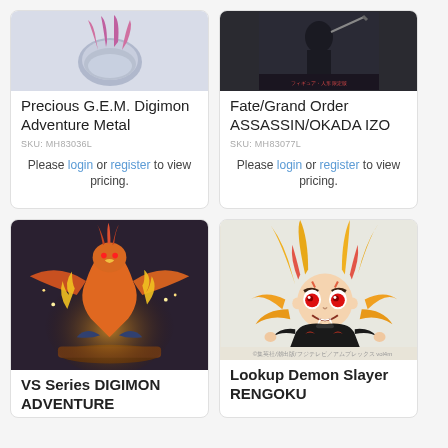[Figure (photo): Digimon figure claw/hand part, close-up with pink/purple colors on grey background]
Precious G.E.M. Digimon Adventure Metal
SKU: MH83036L
Please login or register to view pricing.
[Figure (photo): Fate/Grand Order ASSASSIN/OKADA IZO figure product image with Japanese text packaging]
Fate/Grand Order ASSASSIN/OKADA IZO
SKU: MH83077L
Please login or register to view pricing.
[Figure (photo): VS Series Digimon Adventure figure with dramatic fire and lightning effects, multiple Digimon characters on a wooden base]
VS Series DIGIMON ADVENTURE
[Figure (photo): Lookup Demon Slayer chibi figure with yellow and orange hair, large red eyes, wearing black uniform, sitting pose]
©集英社/潮出版/フジテレビ／アムプレックス vol4m
Lookup Demon Slayer RENGOKU